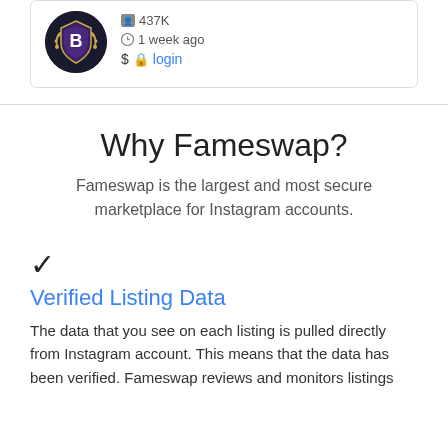[Figure (other): Instagram account listing card with a circular badge logo, follower count 437K, time posted 1 week ago, and a login link for price]
Why Fameswap?
Fameswap is the largest and most secure marketplace for Instagram accounts.
Verified Listing Data
The data that you see on each listing is pulled directly from Instagram account. This means that the data has been verified. Fameswap reviews and monitors listings